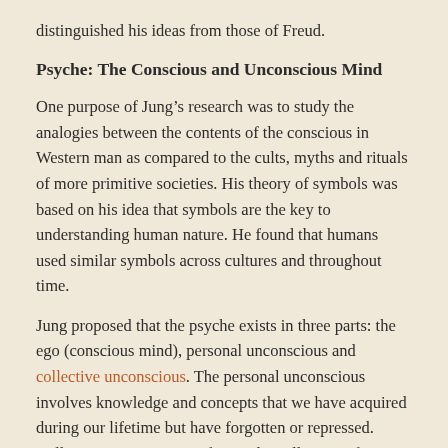distinguished his ideas from those of Freud.
Psyche: The Conscious and Unconscious Mind
One purpose of Jung's research was to study the analogies between the contents of the conscious in Western man as compared to the cults, myths and rituals of more primitive societies. His theory of symbols was based on his idea that symbols are the key to understanding human nature. He found that humans used similar symbols across cultures and throughout time.
Jung proposed that the psyche exists in three parts: the ego (conscious mind), personal unconscious and collective unconscious. The personal unconscious involves knowledge and concepts that we have acquired during our lifetime but have forgotten or repressed. Collective unconscious refers to the collection of “memories” that are common to all mankind. Jung coined the term individuation process to describe the full integration of the conscious and unconscious mind, which is essential to becoming a whole and fully developed person.